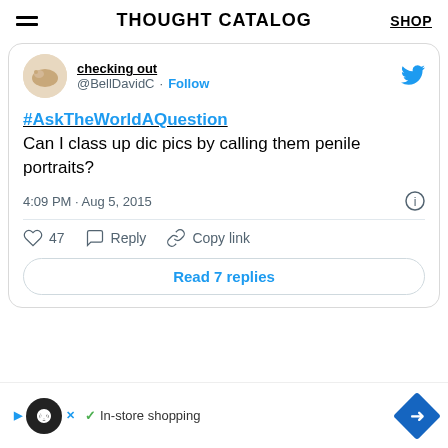THOUGHT CATALOG
[Figure (screenshot): Tweet from @BellDavidC showing hashtag #AskTheWorldAQuestion with text: Can I class up dic pics by calling them penile portraits? Posted 4:09 PM Aug 5, 2015. 47 likes. Read 7 replies button.]
[Figure (infographic): Advertisement banner showing infinity loop logo, checkmark, In-store shopping text, and blue diamond navigation icon.]